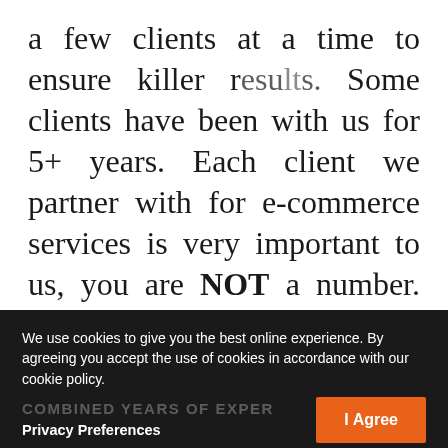a few clients at a time to ensure killer results. Some clients have been with us for 5+ years. Each client we partner with for e-commerce services is very important to us, you are NOT a number. We want to kick some ass for your company and this requires individual attention and focus like a Shaolin monk.
We use cookies to give you the best online experience. By agreeing you accept the use of cookies in accordance with our cookie policy.
COMBINED YEARS OF EXPER...
Privacy Preferences
I Agree